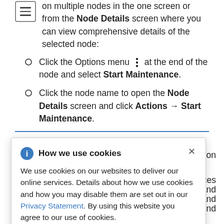on multiple nodes in the one screen or from the Node Details screen where you can view comprehensive details of the selected node:
Click the Options menu [icon] at the end of the node and select Start Maintenance.
Click the node name to open the Node Details screen and click Actions → Start Maintenance.
[Figure (infographic): Cookie consent popup: 'How we use cookies' with info icon and close button. Text: We use cookies on our websites to deliver our online services. Details about how we use cookies and how you may disable them are set out in our Privacy Statement. By using this website you agree to our use of cookies.]
recreated on another node.